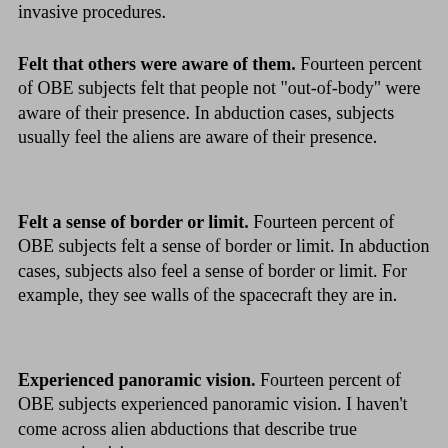invasive procedures.
Felt that others were aware of them. Fourteen percent of OBE subjects felt that people not "out-of-body" were aware of their presence. In abduction cases, subjects usually feel the aliens are aware of their presence.
Felt a sense of border or limit. Fourteen percent of OBE subjects felt a sense of border or limit. In abduction cases, subjects also feel a sense of border or limit. For example, they see walls of the spacecraft they are in.
Experienced panoramic vision. Fourteen percent of OBE subjects experienced panoramic vision. I haven't come across alien abductions that describe true panoramic vision,